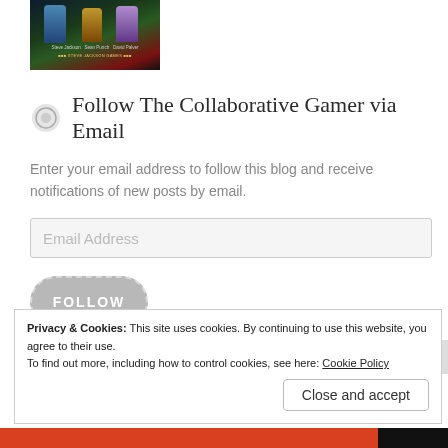[Figure (illustration): Book cover image showing fantasy characters with authors Steve Jackson, Sean Punch, David Pulver and Steve Jackson Games publisher text]
Follow The Collaborative Gamer via Email
Enter your email address to follow this blog and receive notifications of new posts by email.
Email Address
FOLLOW
Privacy & Cookies: This site uses cookies. By continuing to use this website, you agree to their use.
To find out more, including how to control cookies, see here: Cookie Policy
Close and accept